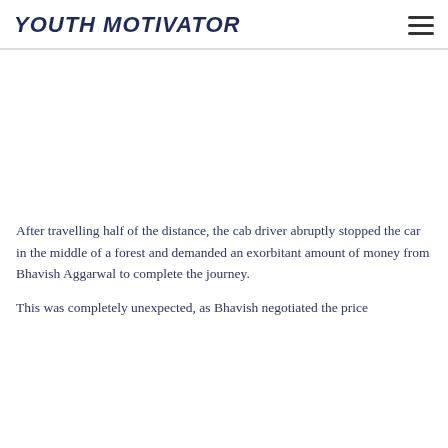YOUTH MOTIVATOR
After travelling half of the distance, the cab driver abruptly stopped the car in the middle of a forest and demanded an exorbitant amount of money from Bhavish Aggarwal to complete the journey.
This was completely unexpected, as Bhavish negotiated the price